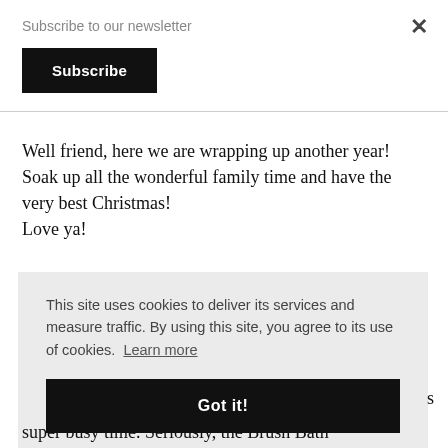Subscribe to our newsletter
Subscribe
Well friend, here we are wrapping up another year! Soak up all the wonderful family time and have the very best Christmas!
Love ya!
This site uses cookies to deliver its services and measure traffic. By using this site, you agree to its use of cookies. Learn more
Got it!
super busy time. Seriously, the Brush Bath